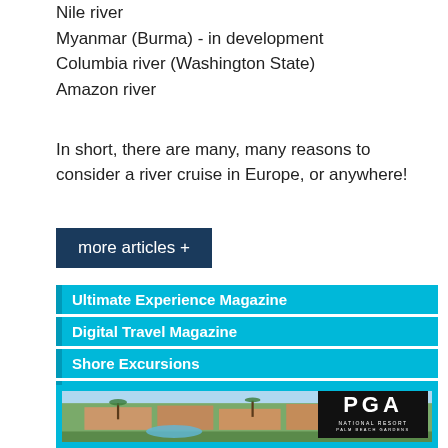Nile river
Myanmar (Burma) - in development
Columbia river (Washington State)
Amazon river
In short, there are many, many reasons to consider a river cruise in Europe, or anywhere!
more articles +
Ultimate Experience Magazine
Digital Travel Magazine
Shore Excursions
Free Mobile App Download
Trip Insurance
[Figure (photo): Aerial view of PGA National Resort, Palm Beach Gardens, showing resort buildings with terracotta roofs, palm trees, and pool area. PGA National Resort logo overlay in bottom right corner.]